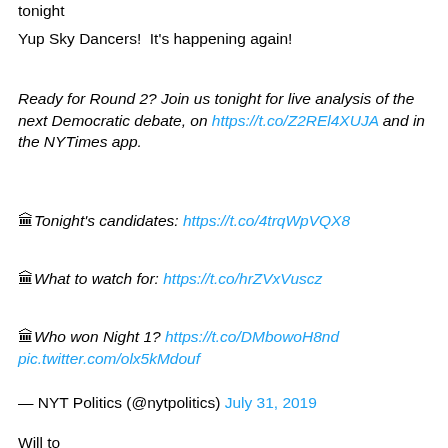tonight
Yup Sky Dancers!  It's happening again!
Ready for Round 2? Join us tonight for live analysis of the next Democratic debate, on https://t.co/Z2REl4XUJA and in the NYTimes app.
🏛️Tonight's candidates: https://t.co/4trqWpVQX8
🏛️What to watch for: https://t.co/hrZVxVuscz
🏛️Who won Night 1? https://t.co/DMbowoH8nd pic.twitter.com/olx5kMdouf
— NYT Politics (@nytpolitics) July 31, 2019
Will tonight's…